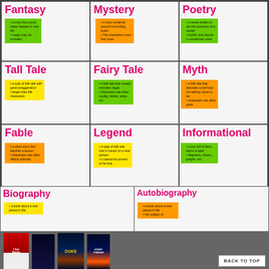Fantasy
a story that could never happen in real life
magic may be included
Mystery
a story centered around a puzzling event
The characters must find clues
Poetry
a verse written to stir the emotions of a reader
rhythm and rhyme is sometimes used
Tall Tale
a type of folk tale with great exaggeration
larger-than-life characters
Fairy Tale
a folk tale that usually includes magic
characters are often royalty, fairies, elves, etc.
Myth
a folk tale that attempts to tell how something came to be
characters are often gods
Fable
a short story that teaches a lesson
characters are often talking animals
Legend
a type of folk tale that is based on a real person
it cannot be proven to be true
Informational
a text full of facts about a topic
diagrams, charts, graphs, etc.
Biography
a book about a real person's life
Autobiography
a book about a real person's life
the subject of
[Figure (photo): Classroom anchor chart showing genre definitions in a grid with sticky notes, and books displayed in front: I Am Malala, The School for Good and Evil, Duke, Story Thieves]
BACK TO TOP